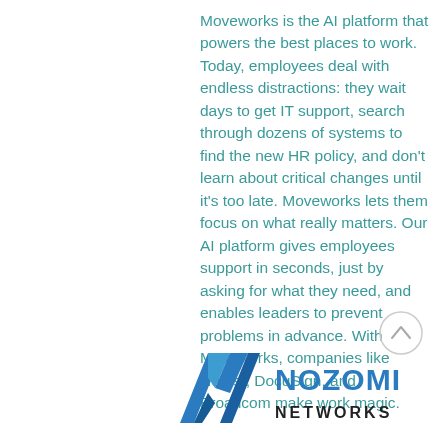Moveworks is the AI platform that powers the best places to work. Today, employees deal with endless distractions: they wait days to get IT support, search through dozens of systems to find the new HR policy, and don't learn about critical changes until it's too late. Moveworks lets them focus on what really matters. Our AI platform gives employees support in seconds, just by asking for what they need, and enables leaders to prevent problems in advance. With Moveworks, companies like Hearst, DocuSign, and Broadcom make work magic.
[Figure (logo): Nozomi Networks logo with teal/blue geometric N icon and text 'NOZOMI NETWORKS']